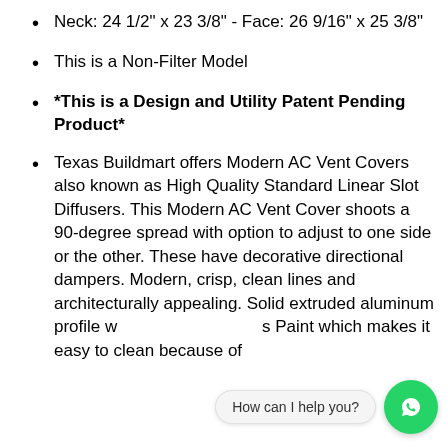Neck: 24 1/2" x 23 3/8" - Face: 26 9/16" x 25 3/8"
This is a Non-Filter Model
*This is a Design and Utility Patent Pending Product*
Texas Buildmart offers Modern AC Vent Covers also known as High Quality Standard Linear Slot Diffusers. This Modern AC Vent Cover shoots a 90-degree spread with option to adjust to one side or the other. These have decorative directional dampers. Modern, crisp, clean lines and architecturally appealing. Solid extruded aluminum profile w[ith Powder Coat]os[e] Paint which makes it easy to clean because of